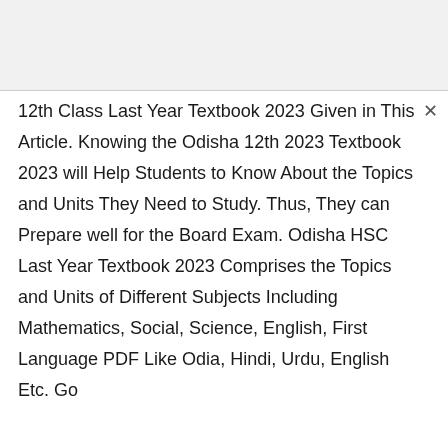12th Class Last Year Textbook 2023 Given in This Article. Knowing the Odisha 12th 2023 Textbook 2023 will Help Students to Know About the Topics and Units They Need to Study. Thus, They can Prepare well for the Board Exam. Odisha HSC Last Year Textbook 2023 Comprises the Topics and Units of Different Subjects Including Mathematics, Social, Science, English, First Language PDF Like Odia, Hindi, Urdu, English Etc. Go